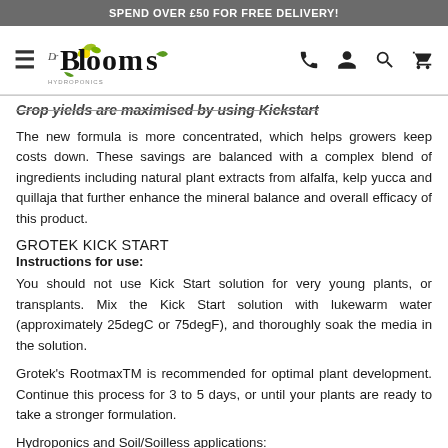SPEND OVER £50 FOR FREE DELIVERY!
[Figure (logo): Dr Blooms hydroponics logo with hamburger menu and navigation icons (phone, user, search, cart)]
Crop yields are maximised by using Kickstart
The new formula is more concentrated, which helps growers keep costs down. These savings are balanced with a complex blend of ingredients including natural plant extracts from alfalfa, kelp yucca and quillaja that further enhance the mineral balance and overall efficacy of this product.
GROTEK KICK START
Instructions for use:
You should not use Kick Start solution for very young plants, or transplants. Mix the Kick Start solution with lukewarm water (approximately 25degC or 75degF), and thoroughly soak the media in the solution.
Grotek's RootmaxTM is recommended for optimal plant development. Continue this process for 3 to 5 days, or until your plants are ready to take a stronger formulation.
Hydroponics and Soil/Soilless applications: